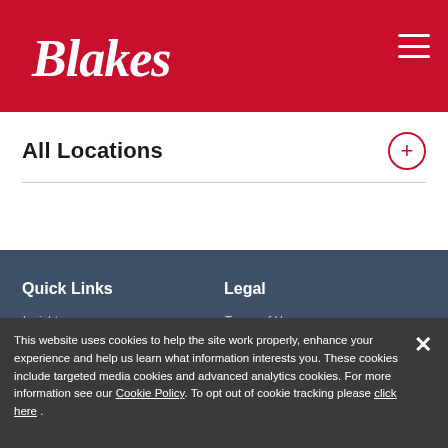[Figure (logo): Blakes law firm logo in white cursive script on red background]
All Locations
Quick Links
Legal
Insights
Terms of Use
Locations
Cookie Policy
Find a Lawyer
Accessibility
Expenses
Fraud Notice
Employee Access
This website uses cookies to help the site work properly, enhance your experience and help us learn what information interests you. These cookies include targeted media cookies and advanced analytics cookies. For more information see our Cookie Policy. To opt out of cookie tracking please click here .